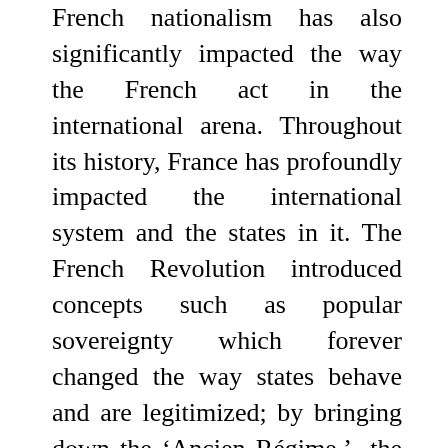French nationalism has also significantly impacted the way the French act in the international arena. Throughout its history, France has profoundly impacted the international system and the states in it. The French Revolution introduced concepts such as popular sovereignty which forever changed the way states behave and are legitimized; by bringing down the ‘Ancien Régime,’ the French can be credited with ushering in the modern era of statehood (notes 10/29). Under Napoleon, France conquered and dominated much of Europe, leaving behind a heritage of reforms, such as the Napoleonic Code, which continue to influence the world to this day (Safran 115). The French have had much influence on the world, adding to their national pride. This pride has manifested itself